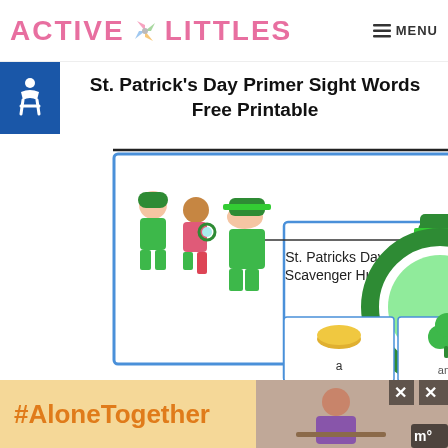ACTIVE LITTLES — MENU
St. Patrick's Day Primer Sight Words Free Printable
[Figure (illustration): St. Patrick's Day themed educational printable showing children in green leprechaun outfits, a magnifying glass, shamrock, coin, and sight word cards. 'FREE' text in green. Cards labeled 'St. Patricks Day Scavenger Hunt'.]
#AloneTogether
[Figure (photo): Advertisement photo showing a woman at a table, with close button X overlays.]
WHAT'S NEXT → Specials